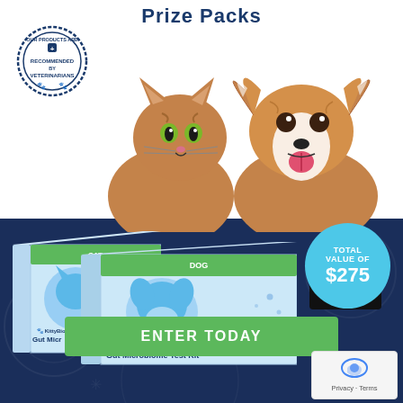Prize Packs
[Figure (photo): A cat and a dog (Papillon breed) side by side, with a circular badge top-left reading 'OUR PRODUCTS ARE RECOMMENDED BY VETERINARIANS', and product boxes showing KittyBiome Gut Microbiome Test Kit and DoggyBiome Gut Microbiome Test Kit along with an Amazon gift card. A cyan circle badge reads 'TOTAL VALUE OF $275'.]
TOTAL VALUE OF $275
KittyBiome Gut Microbiome Test Kit
DoggyBiome Gut Microbiome Test Kit
ENTER TODAY
Privacy · Terms